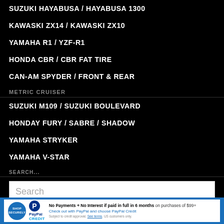SUZUKI HAYABUSA / HAYABUSA 1300
KAWASKI ZX14 / KAWASKI ZX10
YAMAHA R1 / YZF-R1
HONDA CBR / CBR FAT TIRE
CAN-AM SPYDER / FRONT & REAR
METRIC CRUISER
SUZUKI M109 / SUZUKI BOULEVARD
HONDAY FURY / SABRE / SHADOW
YAMAHA STRYKER
YAMAHA V-STAR
SEARCH...
Search
SUBSCRIBE
Name *
[Figure (infographic): PayPal Credit banner advertisement: No Payments + No Interest if paid in full in 6 months on purchases of $99+. Check out with PayPal and choose PayPal Credit. Subject to credit approval. See terms. US customers only.]